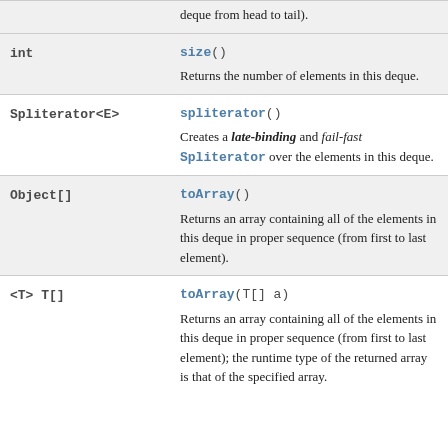| Type | Method and Description |
| --- | --- |
|  | deque from head to tail). |
| int | size()
Returns the number of elements in this deque. |
| Spliterator<E> | spliterator()
Creates a late-binding and fail-fast Spliterator over the elements in this deque. |
| Object[] | toArray()
Returns an array containing all of the elements in this deque in proper sequence (from first to last element). |
| <T> T[] | toArray(T[] a)
Returns an array containing all of the elements in this deque in proper sequence (from first to last element); the runtime type of the returned array is that of the specified array. |